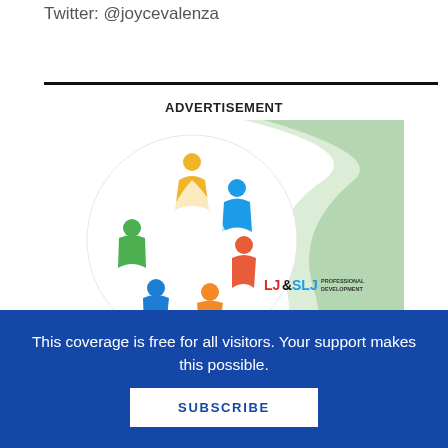Twitter: @joycevalenza
ADVERTISEMENT
[Figure (illustration): Advertisement image for 'How To Build an Antiracist Library Culture' — shows a colorful circular group-of-people logo on a white circle background with a green wave design, LJ&SLJ Professional Development branding, and bold text reading 'How To Build an Antiracist Library Culture']
This coverage is free for all visitors. Your support makes this possible.
SUBSCRIBE